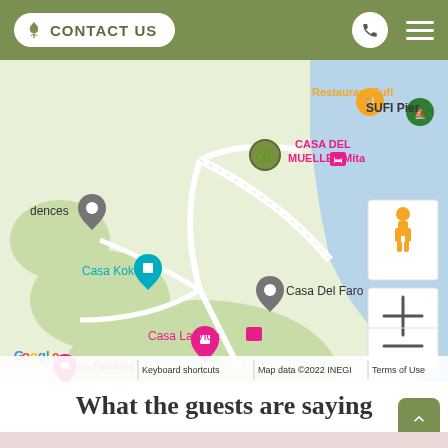CONTACT US
[Figure (map): Google Maps view showing location near Punta Mita area with markers for CASA DEL MUELLE - Mita, Restaurant Sufi, SUFI Pier, Casa Koko, Casa Del Faro, Casa La Vida, and ca Tahoima. Map data ©2022 INEGI. Shows coastal area with water on the right side. Controls include zoom + and - and street view pegman icon. Footer shows: Keyboard shortcuts | Map data ©2022 INEGI | Terms of Use]
What the guests are saying